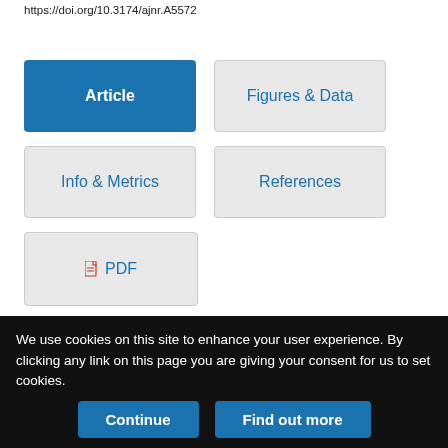https://doi.org/10.3174/ajnr.A5572
Article
Figures & Data
Info & Metrics
References
PDF
Abstract
BACKGROUND AND PURPOSE: The 2016 revision of the World Health Organization Classification of Tumors of the Central Nervous
We use cookies on this site to enhance your user experience. By clicking any link on this page you are giving your consent for us to set cookies.
Continue
Find out more